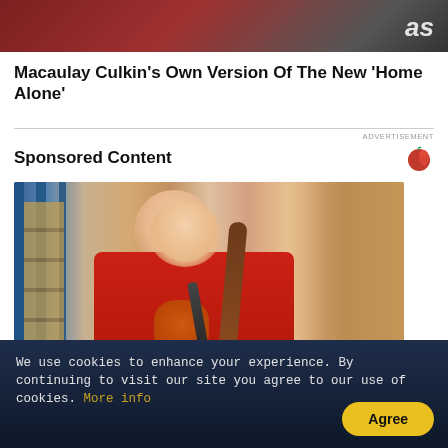[Figure (photo): Partial image of people, showing red/maroon clothing and 'as' text visible on right side]
Macaulay Culkin's Own Version Of The New ‘Home Alone’
ADVERTISEMENT
Sponsored Content
[Figure (photo): Woman in red jacket wearing safety glasses and orange work gloves, standing in a warehouse with shelving and boxes in background]
Find Part Time Work In United States
We use cookies to enhance your experience. By continuing to visit our site you agree to our use of cookies. More info
Agree